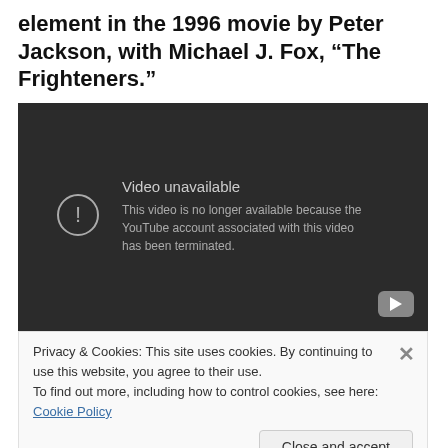element in the 1996 movie by Peter Jackson, with Michael J. Fox, “The Frighteners.”
[Figure (screenshot): Embedded YouTube video player showing 'Video unavailable' message: 'This video is no longer available because the YouTube account associated with this video has been terminated.' Dark background with YouTube play button icon in bottom right.]
Privacy & Cookies: This site uses cookies. By continuing to use this website, you agree to their use.
To find out more, including how to control cookies, see here: Cookie Policy
Close and accept